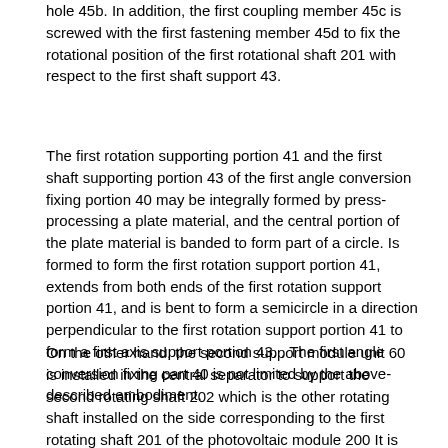hole 45b. In addition, the first coupling member 45c is screwed with the first fastening member 45d to fix the rotational position of the first rotational shaft 201 with respect to the first shaft support 43.
The first rotation supporting portion 41 and the first shaft supporting portion 43 of the first angle conversion fixing portion 40 may be integrally formed by press-processing a plate material, and the central portion of the plate material is banded to form part of a circle. Is formed to form the first rotation support portion 41, extends from both ends of the first rotation support portion 41, and is bent to form a semicircle in a direction perpendicular to the first rotation support portion 41 to form a first axis support portion 43. . The first angle conversion fixing part 40 is not limited by the above-described embodiment.
On the other hand, the second support module unit 60 is installed in the central separator to support the second rotating shaft 202 which is the other rotating shaft installed on the side corresponding to the first rotating shaft 201 of the photovoltaic module 200 It is provided with a two-angle conversion fixing unit 80, substantially by the same structure as the first support module unit 60.